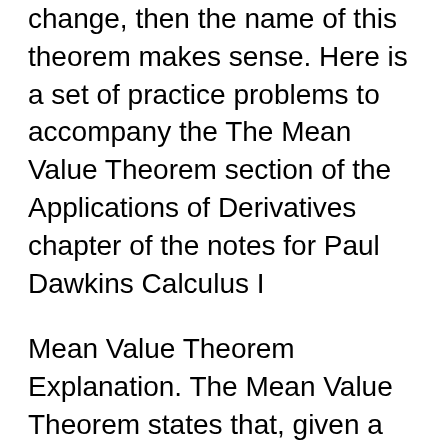change, then the name of this theorem makes sense. Here is a set of practice problems to accompany the The Mean Value Theorem section of the Applications of Derivatives chapter of the notes for Paul Dawkins Calculus I
Mean Value Theorem Explanation. The Mean Value Theorem states that, given a curve on the interval [a,b], the derivative at some point f(c) where a c=""> b Mean Value Theorem Explanation. The Mean Value Theorem states that, given a curve on the interval [a,b], the derivative at some point f(c) where a c=""> b
Mean Value Theorem - Engineering